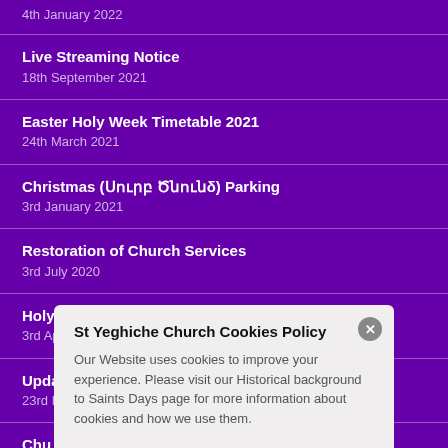4th January 2022
Live Streaming Notice
18th September 2021
Easter Holy Week Timetable 2021
24th March 2021
Christmas (Սուրբ Ծնունδ) Parking
3rd January 2021
Restoration of Church Services
3rd July 2020
Holy Week Services 2020
3rd April 2020
Update Church Services
23rd March 2020
Chu...
18th...
Chri...
2nd...
St Yeghiche Church Cookies Policy
Our Website uses cookies to improve your experience. Please visit our Historical background to Saints Days page for more information about cookies and how we use them.